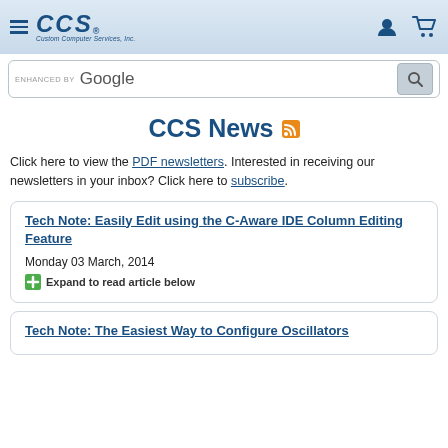CCS - Custom Computer Services, Inc. navigation header with logo, hamburger menu, user icon, and cart icon
[Figure (screenshot): Search bar with ENHANCED BY Google text and search button]
CCS News
Click here to view the PDF newsletters. Interested in receiving our newsletters in your inbox? Click here to subscribe.
Tech Note: Easily Edit using the C-Aware IDE Column Editing Feature
Monday 03 March, 2014
Expand to read article below
Tech Note: The Easiest Way to Configure Oscillators